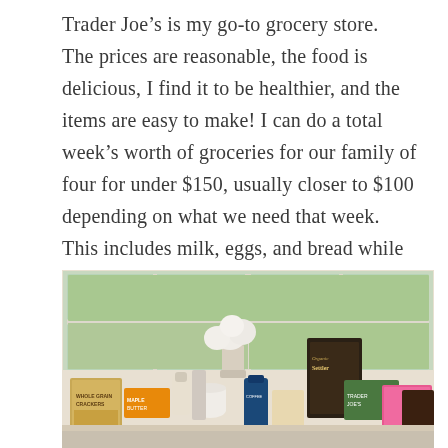Trader Joe's is my go-to grocery store. The prices are reasonable, the food is delicious, I find it to be healthier, and the items are easy to make! I can do a total week's worth of groceries for our family of four for under $150, usually closer to $100 depending on what we need that week. This includes milk, eggs, and bread while meat, alcohol, and produce changes weekly. We have Amazon Subscribe and Save for paper goods such as paper towels, toilet paper and diapers delivered monthly.
[Figure (photo): Photo of Trader Joe's grocery items arranged on a counter in front of a window. Items include crackers, butter, orange package, coffee, and other grocery products. White flowers in a vase visible in the background near the window.]